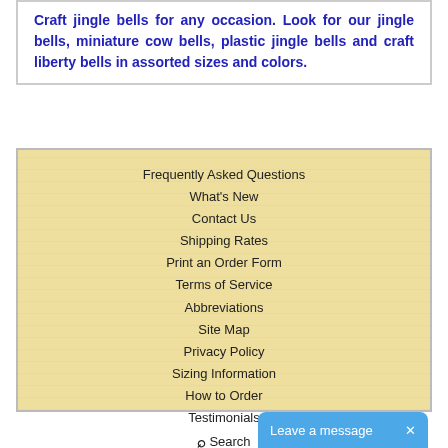Craft jingle bells for any occasion. Look for our jingle bells, miniature cow bells, plastic jingle bells and craft liberty bells in assorted sizes and colors.
Frequently Asked Questions
What's New
Contact Us
Shipping Rates
Print an Order Form
Terms of Service
Abbreviations
Site Map
Privacy Policy
Sizing Information
How to Order
Testimonials
Search
© Copyright, 1994-2022, Craft Supply Depot (formerly BJ's Craft Supplies), All rights reserved, Craft Supply Depot.   661 Abrameit Rd, Goliad, TX  77963. 361.645-3325